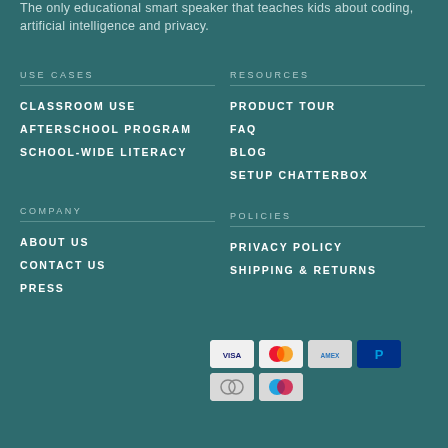The only educational smart speaker that teaches kids about coding, artificial intelligence and privacy.
USE CASES
CLASSROOM USE
AFTERSCHOOL PROGRAM
SCHOOL-WIDE LITERACY
RESOURCES
PRODUCT TOUR
FAQ
BLOG
SETUP CHATTERBOX
COMPANY
ABOUT US
CONTACT US
PRESS
POLICIES
PRIVACY POLICY
SHIPPING & RETURNS
[Figure (other): Payment method icons: VISA, Mastercard, AMEX, PayPal, Diners Club, Maestro]